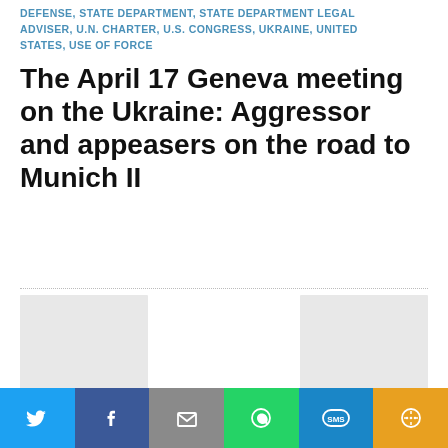DEFENSE, STATE DEPARTMENT, STATE DEPARTMENT LEGAL ADVISER, U.N. CHARTER, U.S. CONGRESS, UKRAINE, UNITED STATES, USE OF FORCE
The April 17 Geneva meeting on the Ukraine: Aggressor and appeasers on the road to Munich II
[Figure (photo): Three placeholder image boxes in a row]
AFGHANISTAN, BARACK OBAMA, CIA, COVERAGE OF FOREIGN EVENTS, DIMMING VISION OF WORLD AFFAIRS, EXTRAJUDICIAL EXECUTION, FOREIGN CORRESPONDENTS, FOREIGN NEWS COVERAGE, INTELLIGENCE, LIBYA, MITT ROMNEY, PUBLIC DIPLOMACY, SELF-DEFENSE, STATE DEPARTMENT, TARGETED
Social sharing bar: Twitter, Facebook, Email, WhatsApp, SMS, More